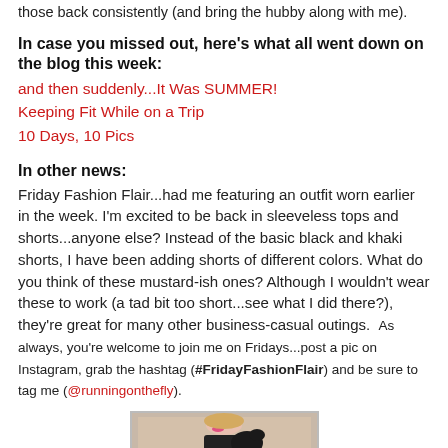those back consistently (and bring the hubby along with me).
In case you missed out, here's what all went down on the blog this week:
and then suddenly...It Was SUMMER!
Keeping Fit While on a Trip
10 Days, 10 Pics
In other news:
Friday Fashion Flair...had me featuring an outfit worn earlier in the week. I'm excited to be back in sleeveless tops and shorts...anyone else? Instead of the basic black and khaki shorts, I have been adding shorts of different colors. What do you think of these mustard-ish ones? Although I wouldn't wear these to work (a tad bit too short...see what I did there?), they're great for many other business-casual outings.  As always, you're welcome to join me on Fridays...post a pic on Instagram, grab the hashtag (#FridayFashionFlair) and be sure to tag me (@runningonthefly).
[Figure (photo): A photo of a person wearing a sleeveless top, partially visible at bottom of page]